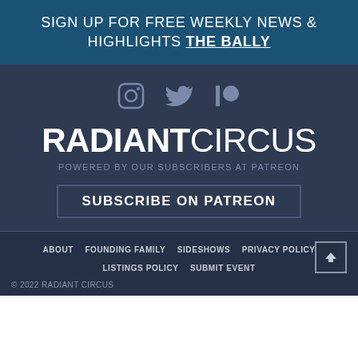SIGN UP FOR FREE WEEKLY NEWS & HIGHLIGHTS THE BALLY
[Figure (illustration): Social media icons: Instagram, Twitter, Patreon]
RADIANTCIRCUS
POWERED BY OUR SUBSCRIBERS AT PATREON
SUBSCRIBE ON PATREON
ABOUT   FOUNDING FAMILY   SIDESHOWS   PRIVACY POLICY   LISTINGS POLICY   SUBMIT EVENT   © 2022 RADIANT CIRCUS